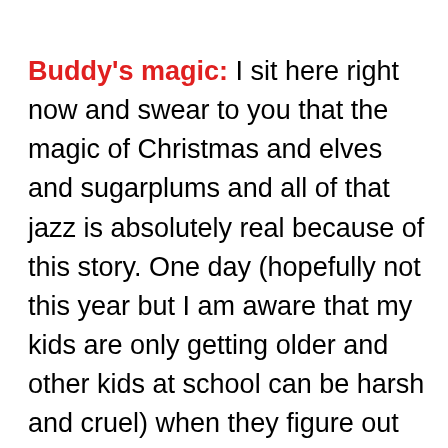Buddy's magic: I sit here right now and swear to you that the magic of Christmas and elves and sugarplums and all of that jazz is absolutely real because of this story. One day (hopefully not this year but I am aware that my kids are only getting older and other kids at school can be harsh and cruel) when they figure out the whole elf thing I won't deny that I was behind the magic the whole time, but I am certain I can make them feel good about Buddy and